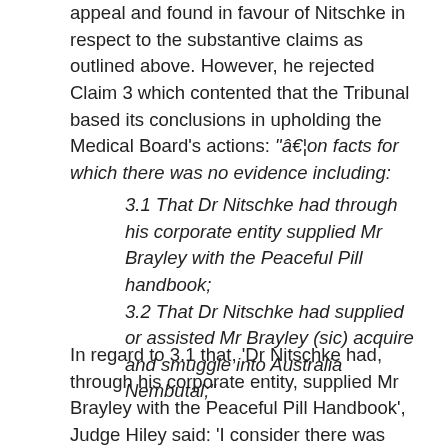appeal and found in favour of Nitschke in respect to the substantive claims as outlined above. However, he rejected Claim 3 which contented that the Tribunal based its conclusions in upholding the Medical Board's actions: "â€¦on facts for which there was no evidence including:
3.1 That Dr Nitschke had through his corporate entity supplied Mr Brayley with the Peaceful Pill handbook;
3.2 That Dr Nitschke had supplied or assisted Mr Brayley (sic) acquire and smuggle into Australia Nembutal;"
In regard to 3.1 that, 'Dr Nitschke had, through his corporate entity, supplied Mr Brayley with the Peaceful Pill Handbook', Judge Hiley said: 'I consider there was evidence from which the Tribunal was entitled to draw this inference.'